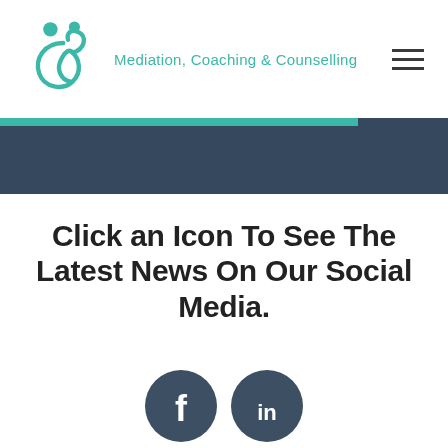Mediation, Coaching & Counselling
[Figure (logo): Teal figure logo with two stylized people and ampersand shape]
Click an Icon To See The Latest News On Our Social Media.
[Figure (illustration): Two circular dark grey social media icons: Facebook (f) and LinkedIn (in)]